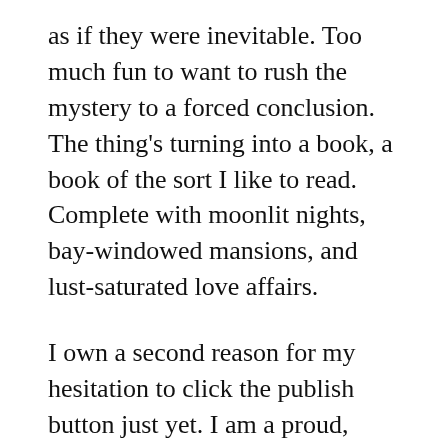as if they were inevitable. Too much fun to want to rush the mystery to a forced conclusion. The thing's turning into a book, a book of the sort I like to read. Complete with moonlit nights, bay-windowed mansions, and lust-saturated love affairs.
I own a second reason for my hesitation to click the publish button just yet. I am a proud, card-carrying perfectionist. Yes, I understand the difficulties many writers experience in company with their schizoid-fractured voices, mental cross-eyed editors, dysfunctional inner-adolescents and armor-suited enemies of Julia Cameron's Artist's Way